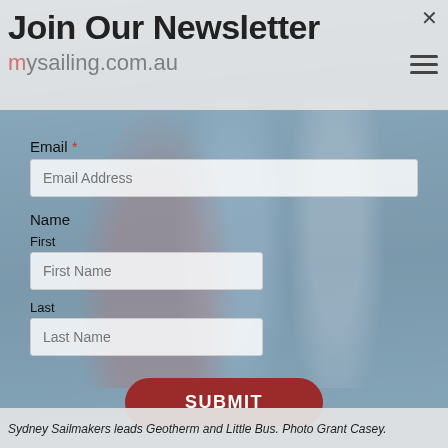Join Our Newsletter
[Figure (screenshot): Website header showing mysailing.com.au logo with close (×) button and hamburger menu icon]
[Figure (photo): Background sailing race photo showing multiple sailboats with colorful spinnakers on water]
Email *
Email Address
Name
First
First Name
Last
Last Name
SUBMIT
Sydney Sailmakers leads Geotherm and Little Bus. Photo Grant Casey.